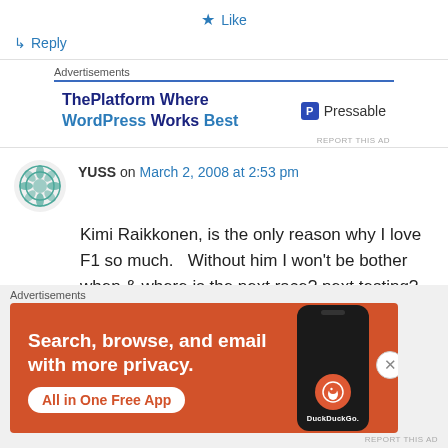★ Like
↳ Reply
[Figure (screenshot): Pressable advertisement: ThePlatform Where WordPress Works Best]
YUSS on March 2, 2008 at 2:53 pm
Kimi Raikkonen, is the only reason why I love F1 so much.   Without him I won't be bother when & where is the next race? next testing? How is the
[Figure (screenshot): DuckDuckGo advertisement: Search, browse, and email with more privacy. All in One Free App]